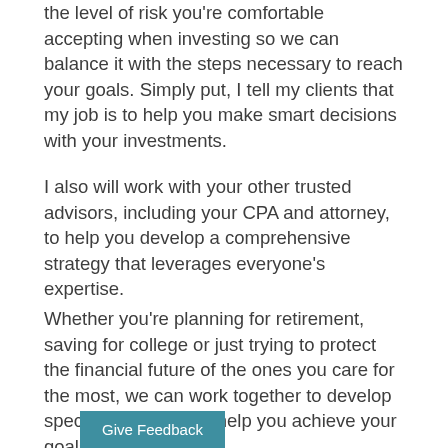the level of risk you're comfortable accepting when investing so we can balance it with the steps necessary to reach your goals. Simply put, I tell my clients that my job is to help you make smart decisions with your investments.
I also will work with your other trusted advisors, including your CPA and attorney, to help you develop a comprehensive strategy that leverages everyone's expertise.
Whether you're planning for retirement, saving for college or just trying to protect the financial future of the ones you care for the most, we can work together to develop specific strategies to help you achieve your goals.